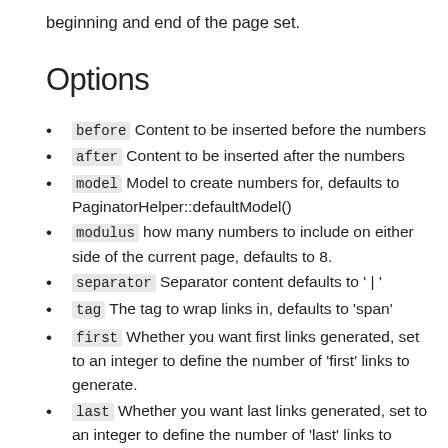beginning and end of the page set.
Options
before Content to be inserted before the numbers
after Content to be inserted after the numbers
model Model to create numbers for, defaults to PaginatorHelper::defaultModel()
modulus how many numbers to include on either side of the current page, defaults to 8.
separator Separator content defaults to ' | '
tag The tag to wrap links in, defaults to 'span'
first Whether you want first links generated, set to an integer to define the number of 'first' links to generate.
last Whether you want last links generated, set to an integer to define the number of 'last' links to